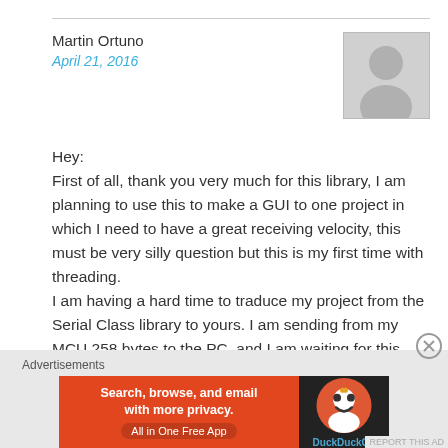Martin Ortuno
April 21, 2016
[Figure (illustration): Generic user avatar placeholder silhouette on grey background]
Hey:
First of all, thank you very much for this library, I am planning to use this to make a GUI to one project in which I need to have a great receiving velocity, this must be very silly question but this is my first time with threading.
I am having a hard time to traduce my project from the Serial Class library to yours. I am sending from my MCU 258 bytes to the PC, and I am waiting for this 258 bytes to get into the serial port, and then proceed with the analysis. I am currently using the property of
Advertisements
[Figure (screenshot): DuckDuckGo advertisement banner: Search, browse, and email with more privacy. All in One Free App]